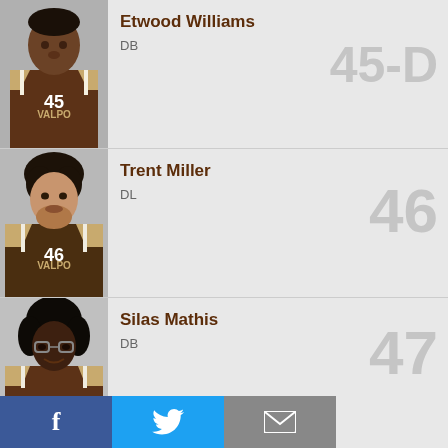[Figure (photo): Etwood Williams in Valpo brown football jersey #45, headshot photo]
Etwood Williams
DB
45-D
[Figure (photo): Trent Miller in Valpo brown football jersey #46, headshot photo]
Trent Miller
DL
46
[Figure (photo): Silas Mathis in Valpo brown football jersey #47, headshot photo]
Silas Mathis
DB
47